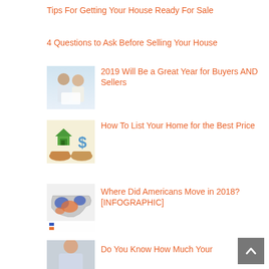Tips For Getting Your House Ready For Sale
4 Questions to Ask Before Selling Your House
[Figure (photo): Couple sitting together looking at documents]
2019 Will Be a Great Year for Buyers AND Sellers
[Figure (infographic): House and dollar sign icons on hands]
How To List Your Home for the Best Price
[Figure (map): Map of USA showing where Americans moved in 2018]
Where Did Americans Move in 2018? [INFOGRAPHIC]
[Figure (photo): Woman, partial view at bottom]
Do You Know How Much Your